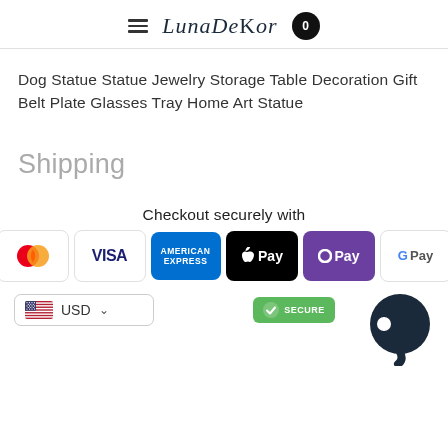LunaDeKor
Dog Statue Statue Jewelry Storage Table Decoration Gift Belt Plate Glasses Tray Home Art Statue
Shipping
Checkout securely with
[Figure (infographic): Payment method icons: Mastercard, VISA, American Express, Apple Pay, O Pay, G Pay]
[Figure (infographic): USD currency selector with US flag, Secure badge, and chat bubble icon]